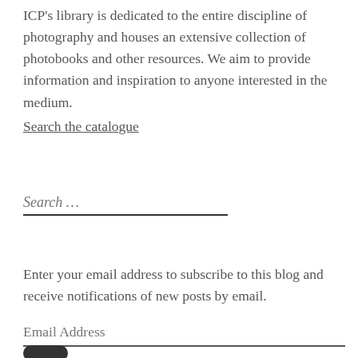ICP's library is dedicated to the entire discipline of photography and houses an extensive collection of photobooks and other resources. We aim to provide information and inspiration to anyone interested in the medium.
Search the catalogue
Search …
Enter your email address to subscribe to this blog and receive notifications of new posts by email.
Email Address